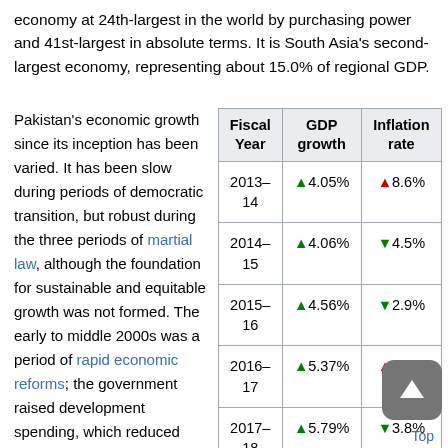economy at 24th-largest in the world by purchasing power and 41st-largest in absolute terms. It is South Asia's second-largest economy, representing about 15.0% of regional GDP.
Pakistan's economic growth since its inception has been varied. It has been slow during periods of democratic transition, but robust during the three periods of martial law, although the foundation for sustainable and equitable growth was not formed. The early to middle 2000s was a period of rapid economic reforms; the government raised development spending, which reduced poverty
| Fiscal Year | GDP growth | Inflation rate |
| --- | --- | --- |
| 2013–14 | ▲4.05% | ▲8.6% |
| 2014–15 | ▲4.06% | ▼4.5% |
| 2015–16 | ▲4.56% | ▼2.9% |
| 2016–17 | ▲5.37% | ▲4.2% |
| 2017–18 | ▲5.79% | ▼3.8% |
Top